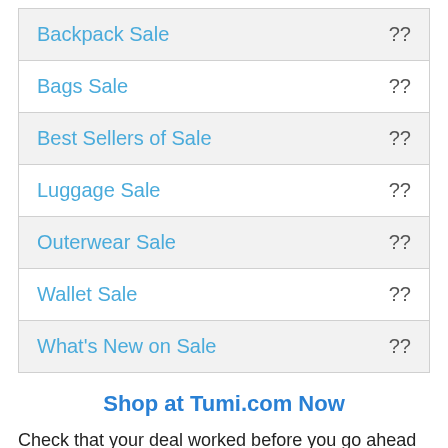| Item | Value |
| --- | --- |
| Backpack Sale | ?? |
| Bags Sale | ?? |
| Best Sellers of Sale | ?? |
| Luggage Sale | ?? |
| Outerwear Sale | ?? |
| Wallet Sale | ?? |
| What's New on Sale | ?? |
Shop at Tumi.com Now
Check that your deal worked before you go ahead and complete the checkout process. We're not responsible if you don't receive the anticipated discount pricing. Internet discounts and sales often expire anytime without prior